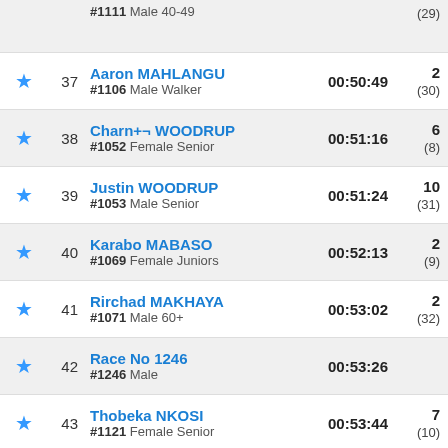| Star | Place | Name / Bib / Category | Time | Pos |
| --- | --- | --- | --- | --- |
|  |  | #1111 Male 40-49 |  | (29) |
| ★ | 37 | Aaron MAHLANGU / #1106 Male Walker | 00:50:49 | 2
(30) |
| ★ | 38 | Charn+¬ WOODRUP / #1052 Female Senior | 00:51:16 | 6
(8) |
| ★ | 39 | Justin WOODRUP / #1053 Male Senior | 00:51:24 | 10
(31) |
| ★ | 40 | Karabo MABASO / #1069 Female Juniors | 00:52:13 | 2
(9) |
| ★ | 41 | Rirchad MAKHAYA / #1071 Male 60+ | 00:53:02 | 2
(32) |
| ★ | 42 | Race No 1246 / #1246 Male | 00:53:26 |  |
| ★ | 43 | Thobeka NKOSI / #1121 Female Senior | 00:53:44 | 7
(10) |
| ★ | 44 | Zama MCHUNU / #1120 Female Senior | 00:53:44 | 8
(11) |
| ★ | 45 | Shane VENTER / #1248 Male Senior | 00:54:08 | 11 |